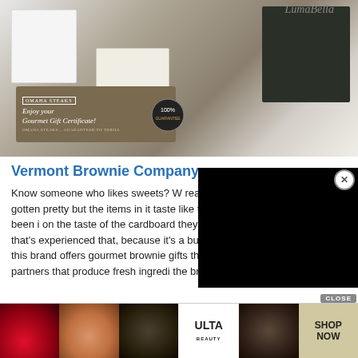[Figure (photo): A collection of gift boxes and products including a white device box, jewelry box with necklace, dark product box, and an Omaha Steaks Gourmet Gift Certificate card]
Vermont Brownie Company
Know someone who likes sweets? W real for a sec. Have you ever gotten pretty but the items in it taste like th you know, the ones that have been i on the taste of the cardboard they're in? Hopefully it is just me that's experienced that, because it's a bummer. Long story short long, this brand offers gourmet brownie gifts that are legit! They have farm partners that produce fresh ingredi the brownies gift box offers se
[Figure (screenshot): Black video overlay in the upper right area of the page with a close (X) button]
[Figure (infographic): Bottom advertisement strip showing makeup and beauty images with ULTA logo and SHOP NOW button, with a CLOSE button]